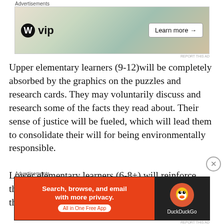[Figure (other): Top advertisement banner: WordPress VIP ad with colorful background and 'Learn more' button]
Upper elementary learners (9-12)will be completely absorbed by the graphics on the puzzles and research cards. They may voluntarily discuss and research some of the facts they read about. Their sense of justice will be fueled, which will lead them to consolidate their will for being environmentally responsible.
Lower elementary learners (6-8+) will reinforce their knowledge on interdependence of living things and make connections between the
[Figure (other): Bottom advertisement banner: DuckDuckGo app ad with orange background and duck logo]